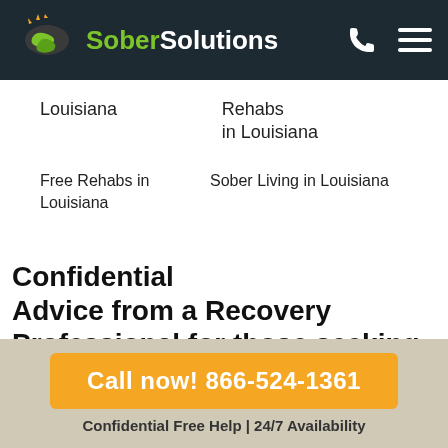Sober Solutions
Louisiana
Rehabs in Louisiana
Free Rehabs in Louisiana
Sober Living in Louisiana
Confidential Advice from a Recovery Professional for those seeking
Call now! 866-524-1361
Confidential Free Help | 24/7 Availability